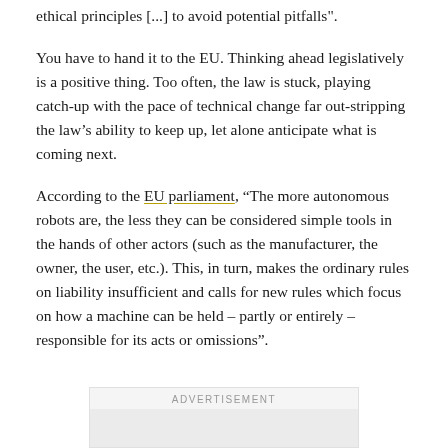ethical principles [...] to avoid potential pitfalls".
You have to hand it to the EU. Thinking ahead legislatively is a positive thing. Too often, the law is stuck, playing catch-up with the pace of technical change far out-stripping the law’s ability to keep up, let alone anticipate what is coming next.
According to the EU parliament, “The more autonomous robots are, the less they can be considered simple tools in the hands of other actors (such as the manufacturer, the owner, the user, etc.). This, in turn, makes the ordinary rules on liability insufficient and calls for new rules which focus on how a machine can be held – partly or entirely – responsible for its acts or omissions”.
ADVERTISEMENT